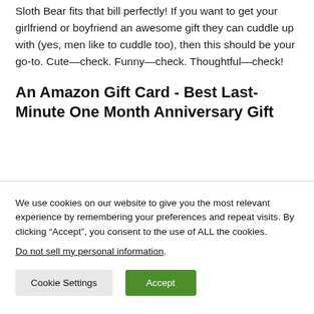Sloth Bear fits that bill perfectly! If you want to get your girlfriend or boyfriend an awesome gift they can cuddle up with (yes, men like to cuddle too), then this should be your go-to. Cute—check. Funny—check. Thoughtful—check!
An Amazon Gift Card - Best Last-Minute One Month Anniversary Gift
We use cookies on our website to give you the most relevant experience by remembering your preferences and repeat visits. By clicking “Accept”, you consent to the use of ALL the cookies. Do not sell my personal information.